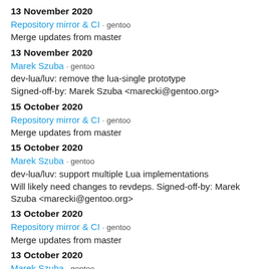13 November 2020
Repository mirror & CI · gentoo
Merge updates from master
13 November 2020
Marek Szuba · gentoo
dev-lua/luv: remove the lua-single prototype
Signed-off-by: Marek Szuba <marecki@gentoo.org>
15 October 2020
Repository mirror & CI · gentoo
Merge updates from master
15 October 2020
Marek Szuba · gentoo
dev-lua/luv: support multiple Lua implementations
Will likely need changes to revdeps. Signed-off-by: Marek Szuba <marecki@gentoo.org>
13 October 2020
Repository mirror & CI · gentoo
Merge updates from master
13 October 2020
Marek Szuba · gentoo
dev-lua/luv: migrate to lua-single.eclass
In theory this should be multi-impl but upstream does not directly